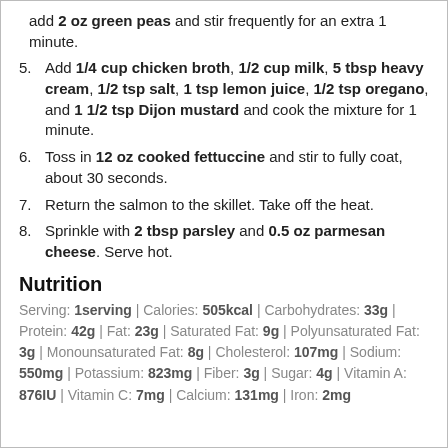add 2 oz green peas and stir frequently for an extra 1 minute.
5. Add 1/4 cup chicken broth, 1/2 cup milk, 5 tbsp heavy cream, 1/2 tsp salt, 1 tsp lemon juice, 1/2 tsp oregano, and 1 1/2 tsp Dijon mustard and cook the mixture for 1 minute.
6. Toss in 12 oz cooked fettuccine and stir to fully coat, about 30 seconds.
7. Return the salmon to the skillet. Take off the heat.
8. Sprinkle with 2 tbsp parsley and 0.5 oz parmesan cheese. Serve hot.
Nutrition
Serving: 1serving | Calories: 505kcal | Carbohydrates: 33g | Protein: 42g | Fat: 23g | Saturated Fat: 9g | Polyunsaturated Fat: 3g | Monounsaturated Fat: 8g | Cholesterol: 107mg | Sodium: 550mg | Potassium: 823mg | Fiber: 3g | Sugar: 4g | Vitamin A: 876IU | Vitamin C: 7mg | Calcium: 131mg | Iron: 2mg